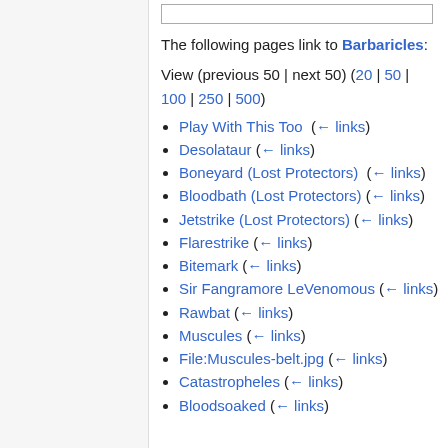The following pages link to Barbaricles:
View (previous 50 | next 50) (20 | 50 | 100 | 250 | 500)
Play With This Too  (← links)
Desolataur  (← links)
Boneyard (Lost Protectors)  (← links)
Bloodbath (Lost Protectors)  (← links)
Jetstrike (Lost Protectors)  (← links)
Flarestrike  (← links)
Bitemark  (← links)
Sir Fangramore LeVenomous  (← links)
Rawbat  (← links)
Muscules  (← links)
File:Muscules-belt.jpg  (← links)
Catastropheles  (← links)
Bloodsoaked  (← links)